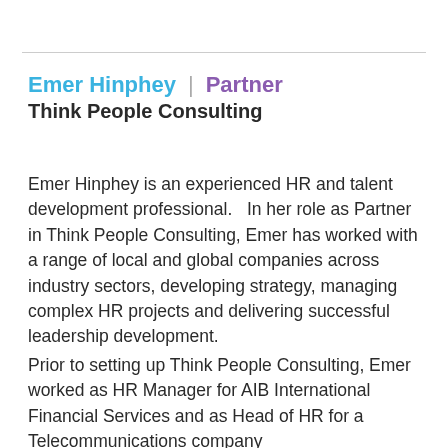Emer Hinphey | Partner
Think People Consulting
Emer Hinphey is an experienced HR and talent development professional.   In her role as Partner in Think People Consulting, Emer has worked with a range of local and global companies across industry sectors, developing strategy, managing complex HR projects and delivering successful leadership development.
Prior to setting up Think People Consulting, Emer worked as HR Manager for AIB International Financial Services and as Head of HR for a Telecommunications company